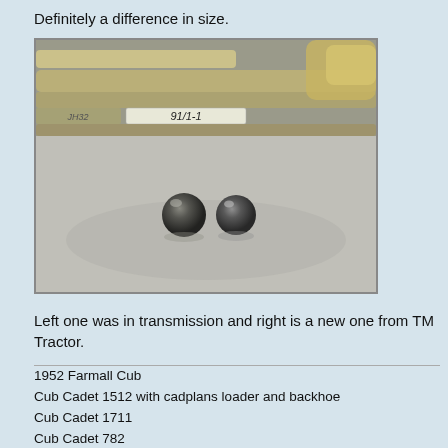Definitely a difference in size.
[Figure (photo): Close-up photo of two metal ball bearings on a grey surface, with chrome/metal parts visible in the upper portion. A label reading '91/1-1' is visible on a metal strip. The left ball appears slightly larger/more worn than the right ball.]
Left one was in transmission and right is a new one from TM Tractor.
1952 Farmall Cub
Cub Cadet 1512 with cadplans loader and backhoe
Cub Cadet 1711
Cub Cadet 782
Cub Cadet 104